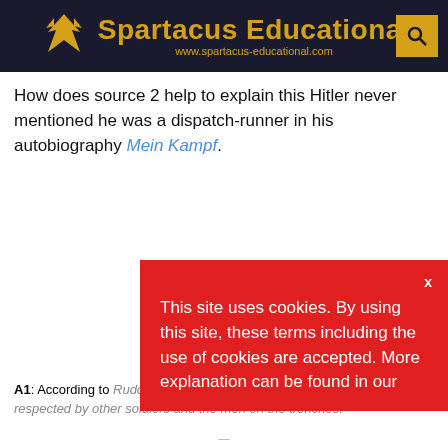Spartacus Educational - www.spartacus-educational.com
How does source 2 help to explain this Hitler never mentioned he was a dispatch-runner in his autobiography Mein Kampf.
This site uses cookies. By using this site, these terms including the use of cookies are accepted. More explanation can be found in our
A1: According to Rudolf Olden (source 2) dispatch-runners were not respected by other soldiers and the men on the trenches.